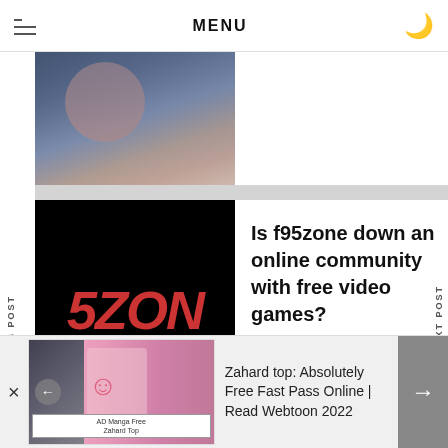MENU
[Figure (photo): Partially visible image of a person, top portion cropped]
Is f95zone down an online community with free video games?
Login SFSWeb For PC
PREVIOUS POST
NEXT POST
[Figure (illustration): Zahard top manga illustration with anime character, AD Manga Free Zahard Top label]
Zahard top: Absolutely Free Fast Pass Online | Read Webtoon 2022